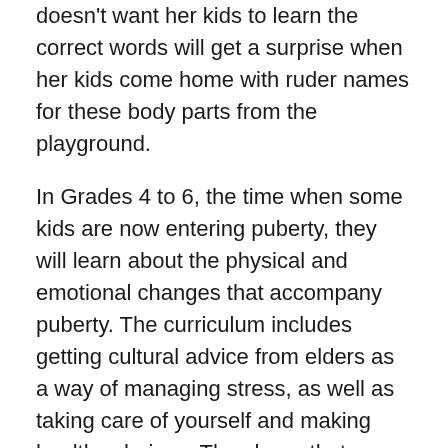doesn't want her kids to learn the correct words will get a surprise when her kids come home with ruder names for these body parts from the playground.
In Grades 4 to 6, the time when some kids are now entering puberty, they will learn about the physical and emotional changes that accompany puberty. The curriculum includes getting cultural advice from elders as a way of managing stress, as well as taking care of yourself and making healthy choices. They learn that touching people without their permission or sharing explicit photos of someone is both inappropriate and illegal.
When kids are older, the curriculum is based on evidence about what delays teen sex, prevents pregnancy and sexually-transmitted disease. I've heard parents mistakenly assume that if sex is discussed in school, kids will rush out to try it when in fact the research shows the